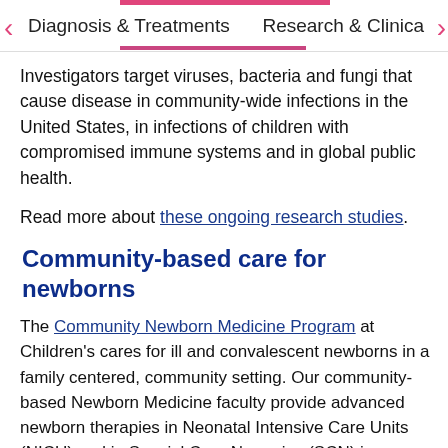Diagnosis & Treatments | Research & Clinica...
Investigators target viruses, bacteria and fungi that cause disease in community-wide infections in the United States, in infections of children with compromised immune systems and in global public health.
Read more about these ongoing research studies.
Community-based care for newborns
The Community Newborn Medicine Program at Children's cares for ill and convalescent newborns in a family centered, community setting. Our community-based Newborn Medicine faculty provide advanced newborn therapies in Neonatal Intensive Care Units (NICU) and in Special Care Nurseries (SCN) in several suburban medical centers that are affiliated with Children's.